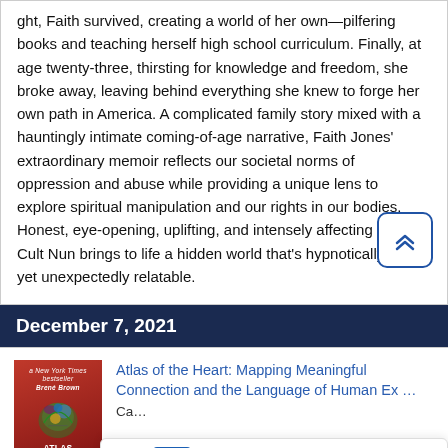ght, Faith survived, creating a world of her own—pilfering books and teaching herself high school curriculum. Finally, at age twenty-three, thirsting for knowledge and freedom, she broke away, leaving behind everything she knew to forge her own path in America. A complicated family story mixed with a hauntingly intimate coming-of-age narrative, Faith Jones' extraordinary memoir reflects our societal norms of oppression and abuse while providing a unique lens to explore spiritual manipulation and our rights in our bodies. Honest, eye-opening, uplifting, and intensely affecting Sex Cult Nun brings to life a hidden world that's hypnotically alien yet unexpectedly relatable.
December 7, 2021
[Figure (illustration): Book cover of Atlas of the Heart by Brené Brown — red background with decorative bird illustration]
Atlas of the Heart: Mapping Meaningful Connection and the Language of Human Experience — Carné Brown
Ask a Librarian